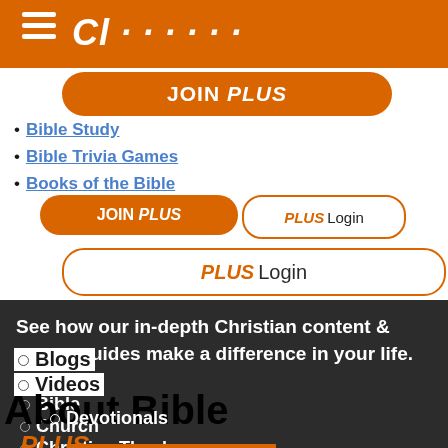Navigation header with hamburger menu and logo
JOIN PLUS
Bible Study
Bible Trivia Games
PLUS Login
Books of the Bible
JOIN PLUS | PLUS Login
Wiki
God
Jesus
See how our in-depth Christian content & prayer guides make a difference in your life.
Bible
Church
Christian Theology
Christian Life
Bible Trivia
Blogs
Videos
About Bible
Devotionals
PLUS
The Bible is the most important book for Christians.